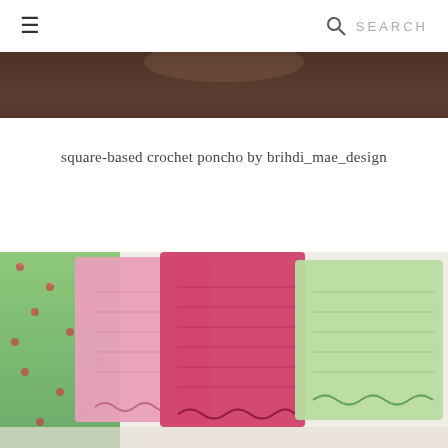☰  SEARCH
[Figure (photo): Cropped top portion of a photo showing a dark/blurred background scene, partially visible]
square-based crochet poncho by brihdi_mae_design
[Figure (photo): Photo of three crochet squares in pink, hot pink/magenta, and light green colors, laid against a green floral fabric background. The squares show lacy crochet stitch patterns.]